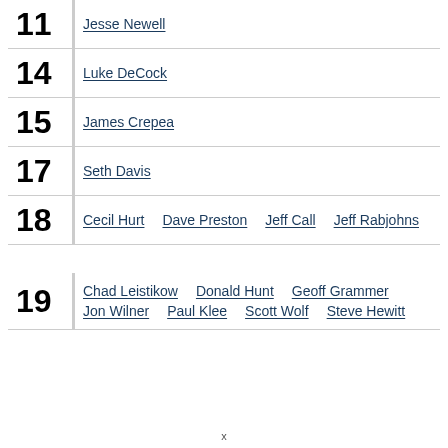11 Jesse Newell
14 Luke DeCock
15 James Crepea
17 Seth Davis
18 Cecil Hurt  Dave Preston  Jeff Call  Jeff Rabjohns
19 Chad Leistikow  Donald Hunt  Geoff Grammer  Jon Wilner  Paul Klee  Scott Wolf  Steve Hewitt
x